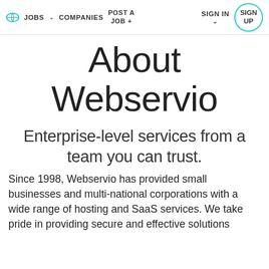JOBS  COMPANIES  POST A JOB +  SIGN IN  SIGN UP
About Webservio
Enterprise-level services from a team you can trust.
Since 1998, Webservio has provided small businesses and multi-national corporations with a wide range of hosting and SaaS services. We take pride in providing secure and effective solutions